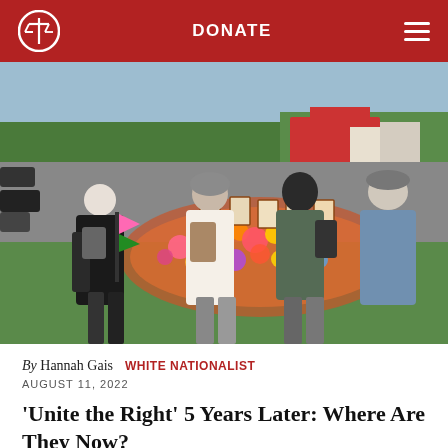DONATE
[Figure (photo): Several people standing with their backs to the camera, looking at a large outdoor memorial covered in flowers, photos, and crosses, with a parking lot and stores visible in the background.]
By Hannah Gais   WHITE NATIONALIST
AUGUST 11, 2022
'Unite the Right' 5 Years Later: Where Are They Now?